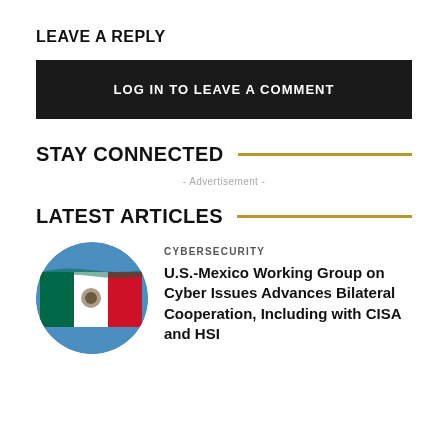LEAVE A REPLY
LOG IN TO LEAVE A COMMENT
STAY CONNECTED
- Advertisement -
LATEST ARTICLES
[Figure (photo): Circular thumbnail of the Mexican flag waving against a blue sky.]
CYBERSECURITY
U.S.-Mexico Working Group on Cyber Issues Advances Bilateral Cooperation, Including with CISA and HSI